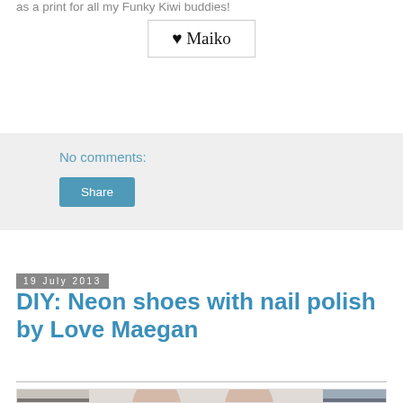as a print for all my Funky Kiwi buddies!
[Figure (illustration): Signature box with heart and cursive text 'Maiko']
No comments:
Share
19 July 2013
DIY: Neon shoes with nail polish by Love Maegan
[Figure (photo): Photo of person's feet/ankles wearing beige strappy heeled sandals, with striped fabric visible in background]